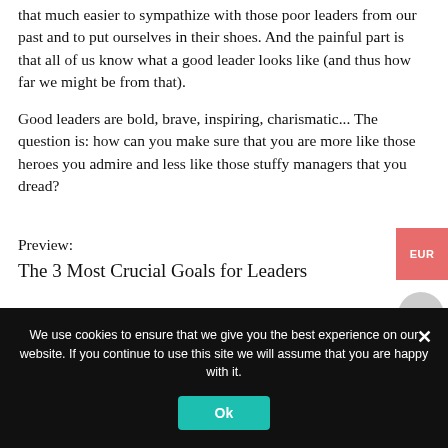that much easier to sympathize with those poor leaders from our past and to put ourselves in their shoes. And the painful part is that all of us know what a good leader looks like (and thus how far we might be from that).
Good leaders are bold, brave, inspiring, charismatic... The question is: how can you make sure that you are more like those heroes you admire and less like those stuffy managers that you dread?
Preview:
The 3 Most Crucial Goals for Leaders
We use cookies to ensure that we give you the best experience on our website. If you continue to use this site we will assume that you are happy with it.
Ok